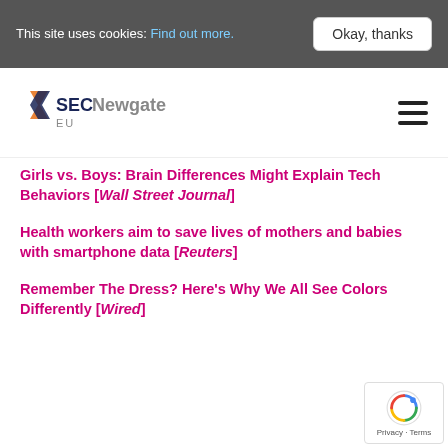This site uses cookies: Find out more.
Okay, thanks
[Figure (logo): SECNewgate EU logo with orange and navy chevron/diamond shape]
Girls vs. Boys: Brain Differences Might Explain Tech Behaviors [Wall Street Journal]
Health workers aim to save lives of mothers and babies with smartphone data [Reuters]
Remember The Dress? Here’s Why We All See Colors Differently [Wired]